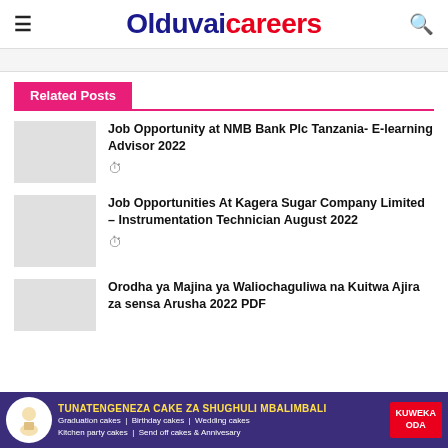Olduvaicareers
Related Posts
Job Opportunity at NMB Bank Plc Tanzania- E-learning Advisor 2022
Job Opportunities At Kagera Sugar Company Limited – Instrumentation Technician August 2022
Orodha ya Majina ya Waliochaguliwa na Kuitwa Ajira za sensa Arusha 2022 PDF
[Figure (infographic): Advertisement banner: TUNATENGENEZA CAKE ZA SHUGHULI MBALIMBALI - Graduation cakes, Birthday cakes, Wedding cakes, Kitchen party cakes, Send off cakes & Annivesary. KUWEKA ODA button.]